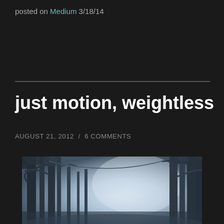posted on Medium 3/18/14
just motion, weightless
AUGUST 21, 2012 / 6 COMMENTS
[Figure (photo): Misty forest scene with tall trees fading into blue-white fog, shot from a low angle looking up]